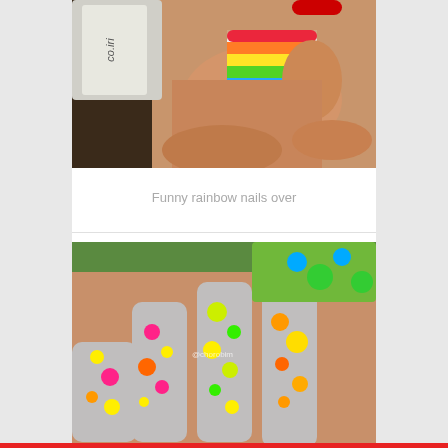[Figure (photo): Close-up photo of a hand holding a nail polish bottle (Catrice brand), with fingernails painted in rainbow horizontal stripes - red, orange, yellow, green, blue, purple bands with glitter.]
Funny rainbow nails over
[Figure (photo): Close-up photo of a hand with fingernails painted in a gray/silver base with colorful neon polka dots in pink, yellow, orange, and green. Watermark @chorobim visible on image.]